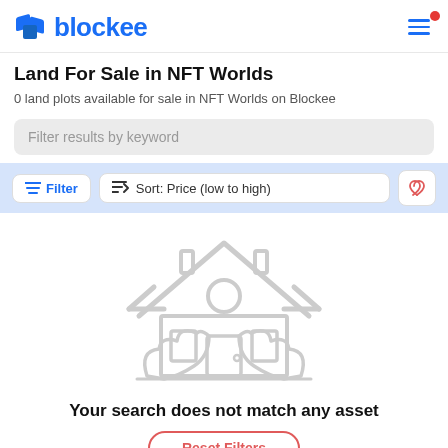blockee
Land For Sale in NFT Worlds
0 land plots available for sale in NFT Worlds on Blockee
Filter results by keyword
Filter  Sort: Price (low to high)
[Figure (illustration): Gray outline illustration of a house with a person figure, bushes, and decorative elements — empty state graphic]
Your search does not match any asset
Reset Filters